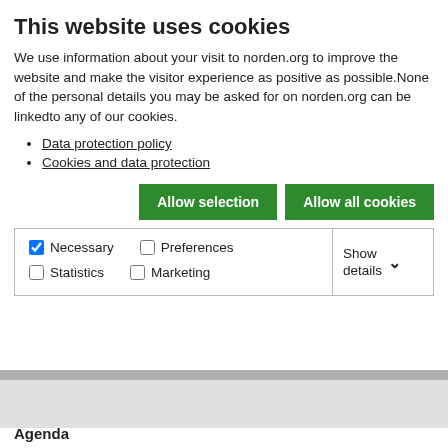This website uses cookies
We use information about your visit to norden.org to improve the website and make the visitor experience as positive as possible.None of the personal details you may be asked for on norden.org can be linkedto any of our cookies.
Data protection policy
Cookies and data protection
Allow selection   Allow all cookies
| Necessary | Preferences | Statistics | Show details |
| --- | --- | --- | --- |
| Marketing |  |  |  |
Agenda